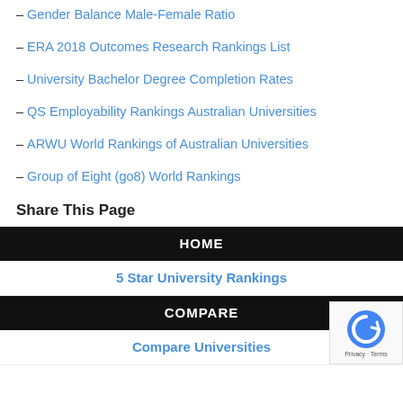– Gender Balance Male-Female Ratio
– ERA 2018 Outcomes Research Rankings List
– University Bachelor Degree Completion Rates
– QS Employability Rankings Australian Universities
– ARWU World Rankings of Australian Universities
– Group of Eight (go8) World Rankings
Share This Page
HOME
5 Star University Rankings
COMPARE
Compare Universities